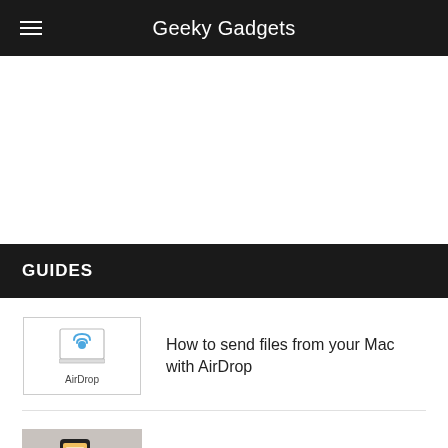Geeky Gadgets
GUIDES
How to send files from your Mac with AirDrop
How to create an Apple ID